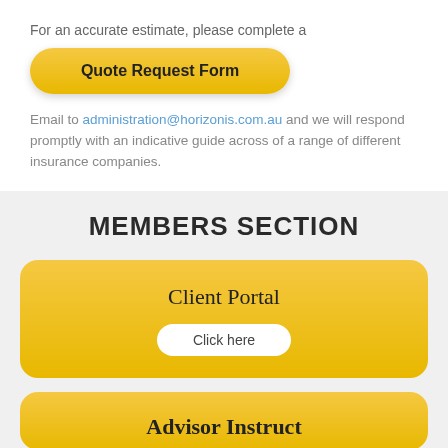For an accurate estimate, please complete a
Quote Request Form
Email to administration@horizonis.com.au and we will respond promptly with an indicative guide across of a range of different insurance companies.
MEMBERS SECTION
Client Portal
Click here
Advisor Instruct